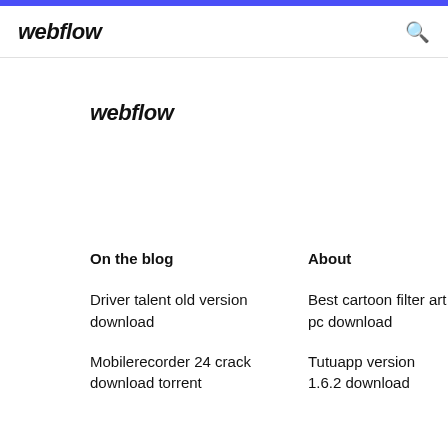webflow
webflow
On the blog
About
Driver talent old version download
Best cartoon filter art pc download
Mobilerecorder 24 crack download torrent
Tutuapp version 1.6.2 download